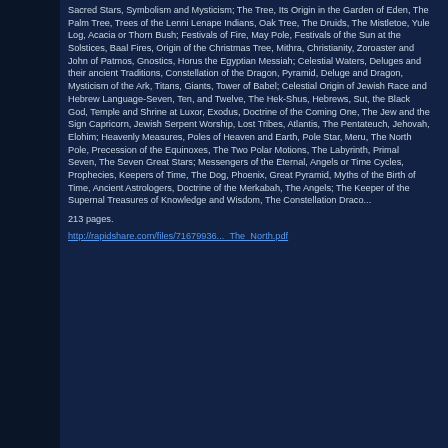Sacred Stars, Symbolism and Mysticism; The Tree, Its Origin in the Garden of Eden, The Palm Tree, Trees of the Lenni Lenape Indians, Oak Tree, The Druids, The Mistletoe, Yule Log, Acacia or Thorn Bush; Festivals of Fire, May Pole, Festivals of the Sun at the Solstices, Baal Fires, Origin of the Christmas Tree, Mithra, Christianity, Zoroaster and John of Patmos, Gnostics, Horus the Egyptian Messiah; Celestial Waters, Deluges and their ancient Traditions, Constellation of the Dragon, Pyramid, Deluge and Dragon, Mysticism of the Ark, Titans, Giants, Tower of Babel; Celestial Origin of Jewish Race and Hebrew Language-Seven, Ten, and Twelve, The Hek-Shus, Hebrews, Sut, the Black God, Temple and Shrine at Luxor, Exodus, Doctrine of the Coming One, The Jew and the Sign Capricorn, Jewish Serpent Worship, Lost Tribes, Atlantis, The Pentateuch, Jehovah, Elohim; Heavenly Measures, Poles of Heaven and Earth, Pole Star, Meru, The North Pole, Precession of the Equinoxes, The Two Polar Motions, The Labyrinth, Primal Seven, The Seven Great Stars; Messengers of the Eternal, Angels or Time Cycles, Prophecies, Keepers of Time, The Dog, Phoenix, Great Pyramid, Myths of the Birth of Time, Ancient Astrologers, Doctrine of the Merkabah, The Angels; The Keeper of the Supernal Treasures of Knowledge and Wisdom, The Constellation Draco...
213 pages.
http://rapidshare.com/files/71679936..._The_North.pdf